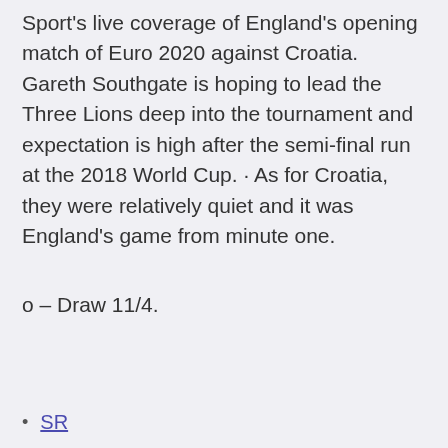Sport's live coverage of England's opening match of Euro 2020 against Croatia. Gareth Southgate is hoping to lead the Three Lions deep into the tournament and expectation is high after the semi-final run at the 2018 World Cup. · As for Croatia, they were relatively quiet and it was England's game from minute one.
o – Draw 11/4.
SR